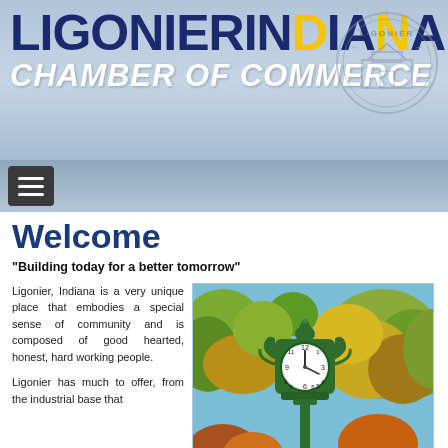LIGONIER INDIANA CHAMBER of COMMERCE
[Figure (screenshot): Ligonier Indiana Chamber of Commerce website header banner with logo and navigation hamburger menu]
Welcome
“Building today for a better tomorrow”
Ligonier, Indiana is a very unique place that embodies a special sense of community and is composed of good hearted, honest, hard working people.
Ligonier has much to offer, from the industrial base that
[Figure (photo): Green ornamental street clock in front of autumn trees with blue sky background, located in Ligonier Indiana]